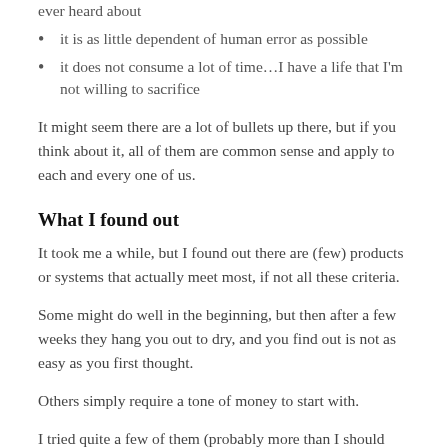it is as little dependent of human error as possible
it does not consume a lot of time…I have a life that I'm not willing to sacrifice
It might seem there are a lot of bullets up there, but if you think about it, all of them are common sense and apply to each and every one of us.
What I found out
It took me a while, but I found out there are (few) products or systems that actually meet most, if not all these criteria.
Some might do well in the beginning, but then after a few weeks they hang you out to dry, and you find out is not as easy as you first thought.
Others simply require a tone of money to start with.
I tried quite a few of them (probably more than I should have). However, to me, the one that qualifies the best and one of of my